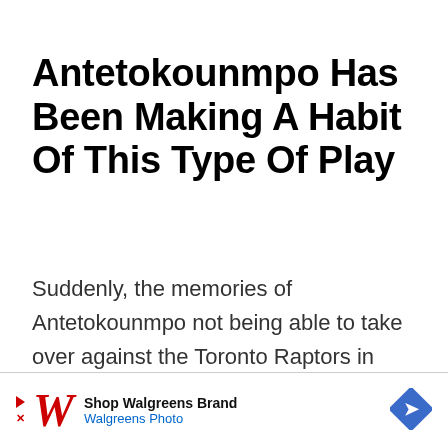Antetokounmpo Has Been Making A Habit Of This Type Of Play
Suddenly, the memories of Antetokounmpo not being able to take over against the Toronto Raptors in 2019 and the Miami Heat in 2020 are becoming a seemingly distant memory.
[Figure (other): Walgreens advertisement banner with logo, 'Shop Walgreens Brand' text, 'Walgreens Photo' subtext, navigation arrow icon, and ad close controls]